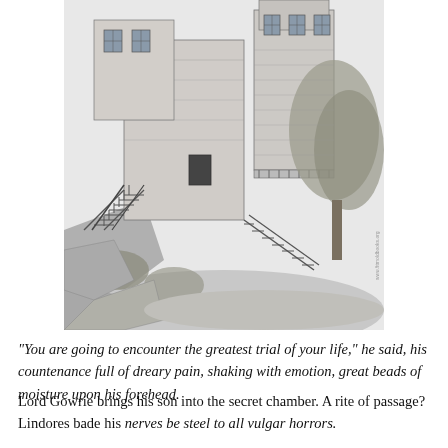[Figure (illustration): Black and white pen-and-ink illustration of a multi-story stone building with staircases, balconies, windows, and surrounding trees and rocky terrain. A watermark reading 'www.fitmoldbooks.org' appears vertically on the right side.]
“You are going to encounter the greatest trial of your life,” he said, his countenance full of dreary pain, shaking with emotion, great beads of moisture upon his forehead.
Lord Gowrie brings his son into the secret chamber. A rite of passage? Lindores bade his nerves be steel to all vulgar horrors.